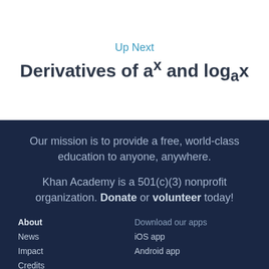Up Next
Derivatives of aˣ and log_a x
Our mission is to provide a free, world-class education to anyone, anywhere.
Khan Academy is a 501(c)(3) nonprofit organization. Donate or volunteer today!
About
Download our apps
News
iOS app
Impact
Android app
Credits